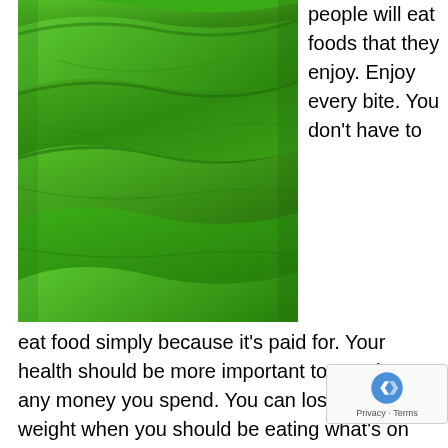[Figure (photo): Close-up photograph of vibrant green leaves with textured ridges and veins, filling the frame with layered green leaf surfaces.]
people will eat foods that they enjoy. Enjoy every bite. You don't have to eat food simply because it's paid for. Your health should be more important to you than any money you spend. You can lose some weight when you should be eating what's on your plate. It is a personal decision.Sometimes, you may engage in a diet that is not successful. Join a gym or sign up for an exercise class. Although a decrease in overall calories help you lose weight or slow your weight gain, exercise help you burn calories and increase your weight loss.